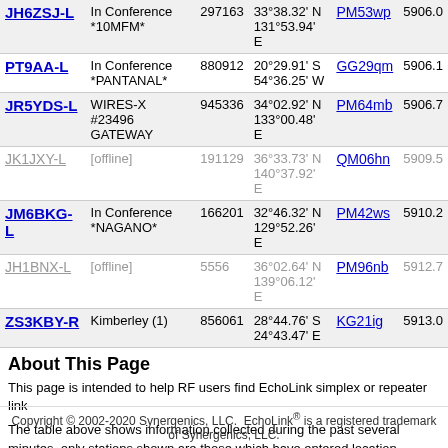| Callsign | Status | Node | Location | Grid | Freq |
| --- | --- | --- | --- | --- | --- |
| JH6ZSJ-L | In Conference *10MFM* | 297163 | 33°38.32' N 131°53.94' E | PM53wp | 5906.0 |
| PT9AA-L | In Conference *PANTANAL* | 880912 | 20°29.91' S 54°36.25' W | GG29qm | 5906.1 |
| JR5YDS-L | WIRES-X #23496 GATEWAY | 945336 | 34°02.92' N 133°00.48' E | PM64mb | 5906.7 |
| JK1JXY-L | [offline] | 191129 | 36°33.73' N 140°37.92' E | QM06hn | 5909.5 |
| JM6BKG-L | In Conference *NAGANO* | 166201 | 32°46.32' N 129°52.26' E | PM42ws | 5910.2 |
| JH1BNX-L | [offline] | 5556 | 36°02.64' N 139°06.12' E | PM96nb | 5912.7 |
| ZS3KBY-R | Kimberley (1) | 856061 | 28°44.76' S 24°43.47' E | KG21ig | 5913.0 |
About This Page
This page is intended to help RF users find EchoLink simplex or repeater link
The table above shows information collected during the past several minutes. only stations shown are those which have entered location information on the viewed here.
Simplex links (-L) show the location, frequency, and antenna information of th and antenna information of the repeater it serves. The values in the Power, H
Copyright © 2002-2020 Synergenics, LLC. EchoLink® is a registered trademark of Synergenics, LLC.